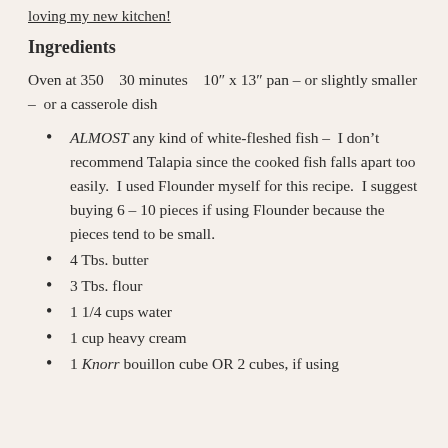loving my new kitchen!
Ingredients
Oven at 350   30 minutes   10″ x 13″ pan – or slightly smaller –  or a casserole dish
ALMOST any kind of white-fleshed fish –  I don't recommend Talapia since the cooked fish falls apart too easily.  I used Flounder myself for this recipe.  I suggest buying 6 – 10 pieces if using Flounder because the pieces tend to be small.
4 Tbs. butter
3 Tbs. flour
1 1/4 cups water
1 cup heavy cream
1 Knorr bouillon cube OR 2 cubes, if using